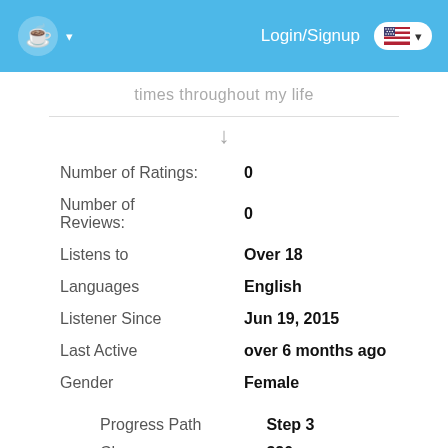Login/Signup
times throughout my life
| Field | Value |
| --- | --- |
| Number of Ratings: | 0 |
| Number of Reviews: | 0 |
| Listens to | Over 18 |
| Languages | English |
| Listener Since | Jun 19, 2015 |
| Last Active | over 6 months ago |
| Gender | Female |
| Field | Value |
| --- | --- |
| Progress Path | Step 3 |
| Cheers | 320 |
| People Helped | 3 |
| Chats | 4 |
| Group Support Chats | 0 |